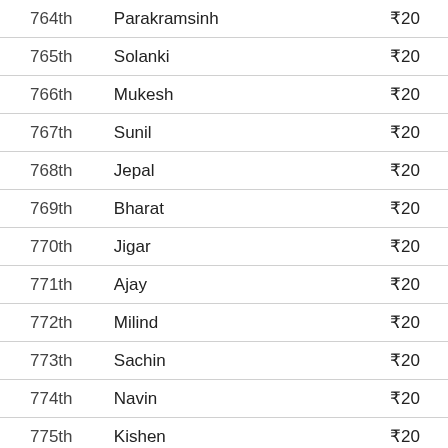| Rank | Name | Amount |
| --- | --- | --- |
| 764th | Parakramsinh | ₹20 |
| 765th | Solanki | ₹20 |
| 766th | Mukesh | ₹20 |
| 767th | Sunil | ₹20 |
| 768th | Jepal | ₹20 |
| 769th | Bharat | ₹20 |
| 770th | Jigar | ₹20 |
| 771th | Ajay | ₹20 |
| 772th | Milind | ₹20 |
| 773th | Sachin | ₹20 |
| 774th | Navin | ₹20 |
| 775th | Kishen | ₹20 |